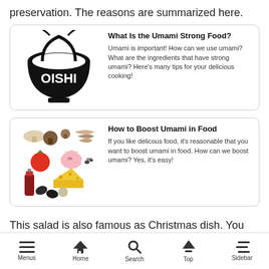preservation. The reasons are summarized here.
[Figure (illustration): Card with Piece of OISHI logo (black bowl with text) and description about Umami Strong Food]
[Figure (illustration): Card with food collage image (mushrooms, tomato, pig, cow, sauce, cheese, nuts) and description about How to Boost Umami in Food]
This salad is also famous as Christmas dish. You can check Finnish Christmas Recipe here.
[Figure (screenshot): Partially visible card for Traditional Christmas Recipes from Finland]
Menus   Home   Search   Top   Sidebar